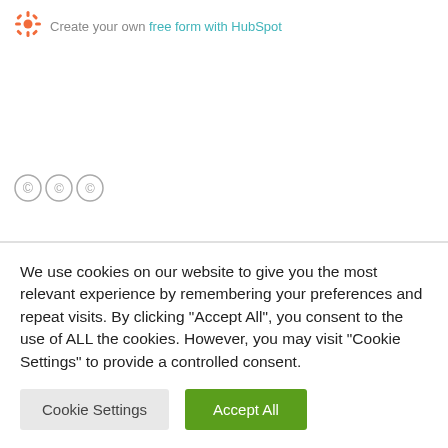Create your own free form with HubSpot
[Figure (logo): Creative Commons license icons strip]
We use cookies on our website to give you the most relevant experience by remembering your preferences and repeat visits. By clicking “Accept All”, you consent to the use of ALL the cookies. However, you may visit "Cookie Settings" to provide a controlled consent.